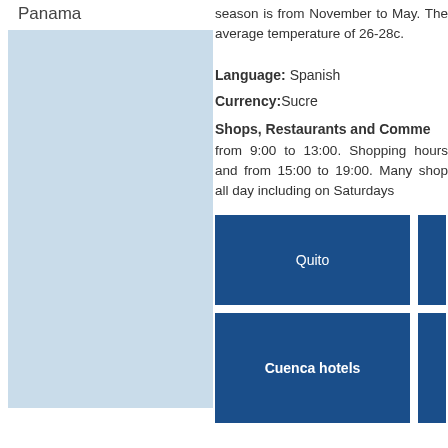Panama
[Figure (other): Light blue rectangular placeholder box]
season is from November to May. The average temperature of 26-28c.
Language: Spanish
Currency:Sucre
Shops, Restaurants and Commerce
from 9:00 to 13:00. Shopping hours and from 15:00 to 19:00. Many shops all day including on Saturdays
[Figure (infographic): Blue button labeled Quito]
[Figure (infographic): Blue button labeled Cuenca hotels]